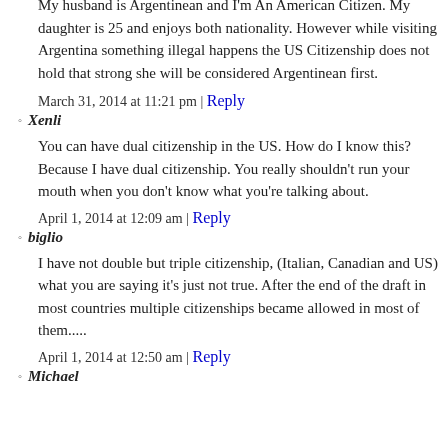My husband is Argentinean and I'm An American Citizen. My daughter is 25 and enjoys both nationality. However while visiting Argentina something illegal happens the US Citizenship does not hold that strong she will be considered Argentinean first.
March 31, 2014 at 11:21 pm | Reply
Xenli
You can have dual citizenship in the US. How do I know this? Because I have dual citizenship. You really shouldn't run your mouth when you don't know what you're talking about.
April 1, 2014 at 12:09 am | Reply
biglio
I have not double but triple citizenship, (Italian, Canadian and US) what you are saying it's just not true. After the end of the draft in most countries multiple citizenships became allowed in most of them.....
April 1, 2014 at 12:50 am | Reply
Michael